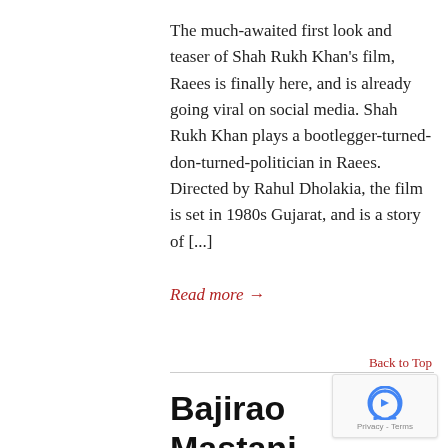The much-awaited first look and teaser of Shah Rukh Khan's film, Raees is finally here, and is already going viral on social media. Shah Rukh Khan plays a bootlegger-turned-don-turned-politician in Raees. Directed by Rahul Dholakia, the film is set in 1980s Gujarat, and is a story of [...]
Read more →
Back to Top
Bajirao Mastani – First Look and Teaser
On July 16, 2015  /  Gossip  /  Leave a comment